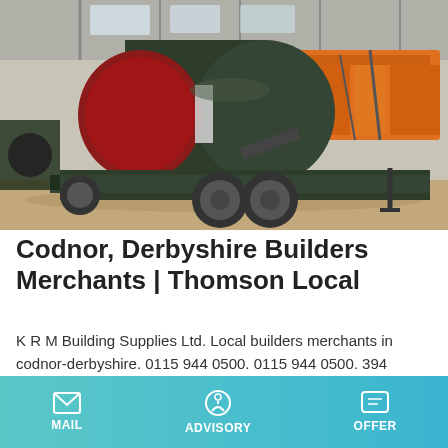[Figure (photo): Industrial machinery — a large green cylindrical drum mounted on a wheeled trailer with orange aggregate/screening equipment in the background, inside a warehouse/shed.]
Codnor, Derbyshire Builders Merchants | Thomson Local
K R M Building Supplies Ltd. Local builders merchants in codnor-derbyshire. 0115 944 0500. 0115 944 0500. 394 Nottingham Road, Ilkeston, DE75BN. 16.
MAIL   ADVISORY   OFFER